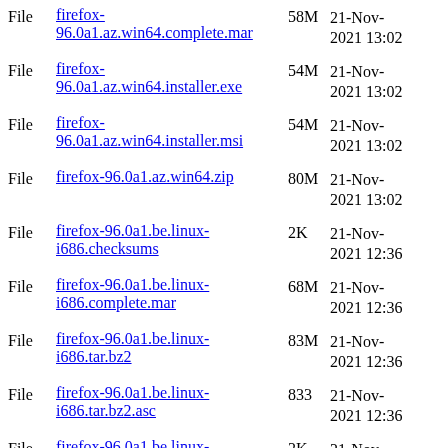File firefox-96.0a1.az.win64.complete.mar 58M 21-Nov-2021 13:02
File firefox-96.0a1.az.win64.installer.exe 54M 21-Nov-2021 13:02
File firefox-96.0a1.az.win64.installer.msi 54M 21-Nov-2021 13:02
File firefox-96.0a1.az.win64.zip 80M 21-Nov-2021 13:02
File firefox-96.0a1.be.linux-i686.checksums 2K 21-Nov-2021 12:36
File firefox-96.0a1.be.linux-i686.complete.mar 68M 21-Nov-2021 12:36
File firefox-96.0a1.be.linux-i686.tar.bz2 83M 21-Nov-2021 12:36
File firefox-96.0a1.be.linux-i686.tar.bz2.asc 833 21-Nov-2021 12:36
File firefox-96.0a1.be.linux-x86_64.checksums 2K 21-Nov-2021 12:35
File firefox-96.0a1.be.linux-x86_64.complete.mar 66M 21-Nov-2021 12:34
File firefox-96.0a1.be.linux-x86_64.tar.bz2 82M 21-Nov-2021 12:34
File firefox-96.0a1.be.linux- 833 21-Nov-